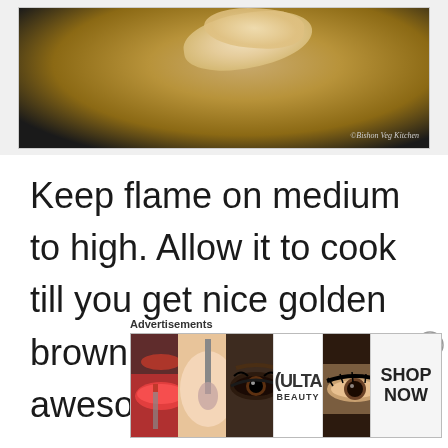[Figure (photo): Food cooking in a dark pan/skillet, golden brown item visible, with watermark text bottom right reading 'Bishon Veg Kitchen']
Keep flame on medium to high. Allow it to cook till you get nice golden brown color and an awesome aroma 🙂 🙂
Advertisements
[Figure (photo): Ulta Beauty advertisement banner showing makeup/beauty images: lips with red lipstick, makeup brush, eye with eyeshadow, Ulta logo, eye with makeup, and SHOP NOW button]